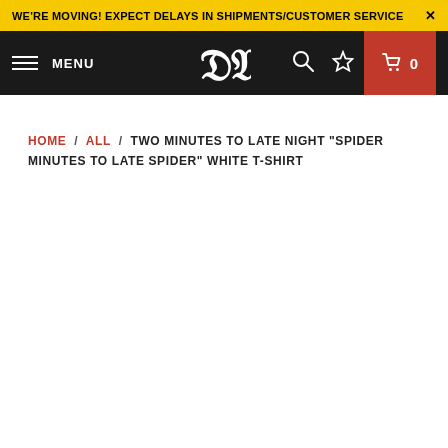WE'RE MOVING! EXPECT DELAYS IN SHIPMENTS/CUSTOMER SERVICE X
MENU | DW logo | search | wishlist | cart 0
HOME / ALL / TWO MINUTES TO LATE NIGHT "SPIDER MINUTES TO LATE SPIDER" WHITE T-SHIRT